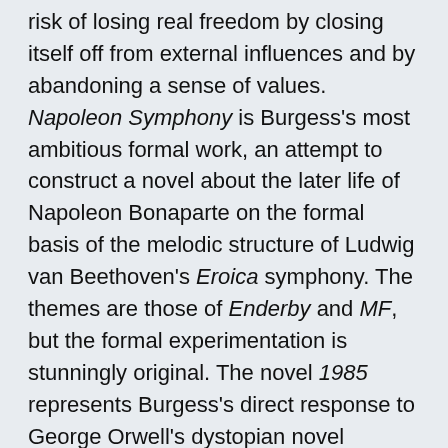risk of losing real freedom by closing itself off from external influences and by abandoning a sense of values. Napoleon Symphony is Burgess's most ambitious formal work, an attempt to construct a novel about the later life of Napoleon Bonaparte on the formal basis of the melodic structure of Ludwig van Beethoven's Eroica symphony. The themes are those of Enderby and MF, but the formal experimentation is stunningly original. The novel 1985 represents Burgess's direct response to George Orwell's dystopian novel Nineteen Eighty-Four (1949). Of the same period is his imaginative biography Shakespeare, arguably the best single work on the playwright.